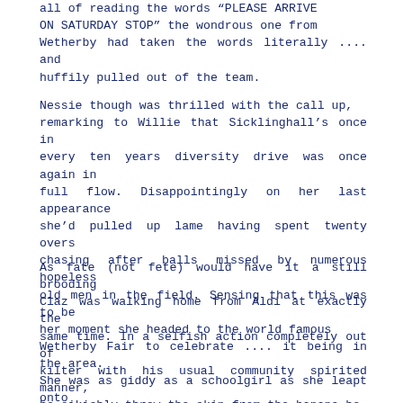all of reading the words "PLEASE ARRIVE ON SATURDAY STOP" the wondrous one from Wetherby had taken the words literally .... and huffily pulled out of the team.
Nessie though was thrilled with the call up, remarking to Willie that Sicklinghall's once in every ten years diversity drive was once again in full flow. Disappointingly on her last appearance she'd pulled up lame having spent twenty overs chasing after balls missed by numerous hopeless old men in the field. Sensing that this was to be her moment she headed to the world famous Wetherby Fair to celebrate .... it being in the area. She was as giddy as a schoolgirl as she leapt onto the bouncy castle.
As fate (not fete) would have it a still brooding Claz was walking home from Aldi at exactly the same time. In a selfish action completely out of kilter with his usual community spirited manner, he oikishly threw the skin from the banana he was eating to the floor five yards in front of him. Two seconds later having forgot this he promptly stood on it and he and three carrier bags of excellent value for money groceries flew through the air. As he landed softly on the edge